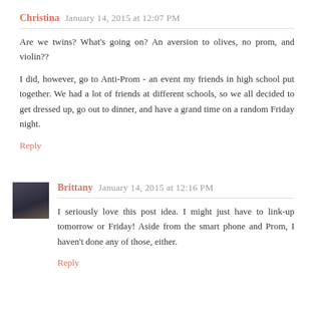Christina  January 14, 2015 at 12:07 PM
Are we twins? What's going on? An aversion to olives, no prom, and violin??

I did, however, go to Anti-Prom - an event my friends in high school put together. We had a lot of friends at different schools, so we all decided to get dressed up, go out to dinner, and have a grand time on a random Friday night.
Reply
Brittany  January 14, 2015 at 12:16 PM
I seriously love this post idea. I might just have to link-up tomorrow or Friday! Aside from the smart phone and Prom, I haven't done any of those, either.
Reply